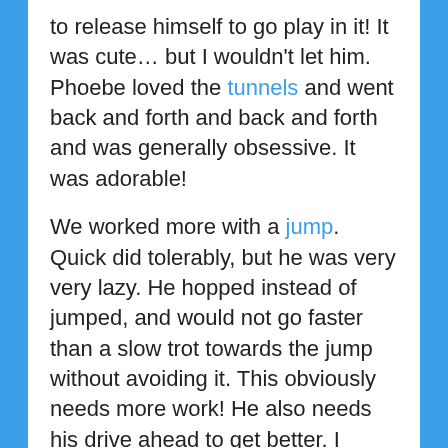to release himself to go play in it!  It was cute… but I wouldn't let him.  Phoebe loved the tunnels and went back and forth and back and forth and was generally obsessive.  It was adorable!
We worked more with a jump.  Quick did tolerably, but he was very very lazy.  He hopped instead of jumped, and would not go faster than a slow trot towards the jump without avoiding it.  This obviously needs more work!  He also needs his drive ahead to get better.  I forgot he was supposed to be driving ahead so I had his food in my hand.  Yeah.  There wasn't much by way of straight lines in his jumping!
Wobble board is the love of his little fuzzy life.  I'm